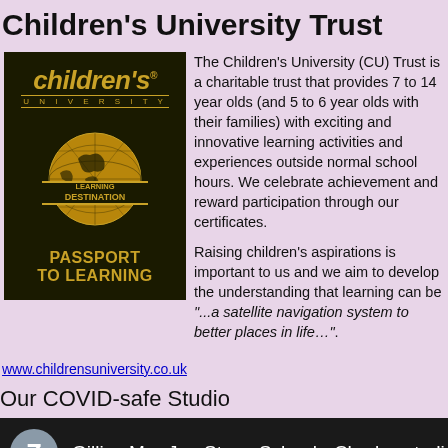Children's University Trust
[Figure (logo): Children's University logo with globe showing 'Learning Destination' banner and 'Passport to Learning' text, on dark background]
The Children's University (CU) Trust is a charitable trust that provides 7 to 14 year olds (and 5 to 6 year olds with their families) with exciting and innovative learning activities and experiences outside normal school hours. We celebrate achievement and reward participation through our certificates.

Raising children's aspirations is important to us and we aim to develop the understanding that learning can be "...a satellite navigation system to better places in life…".
www.childrensuniversity.co.uk
Our COVID-safe Studio
Gillies Mar-Jan Stage School - Chorley studio - CO